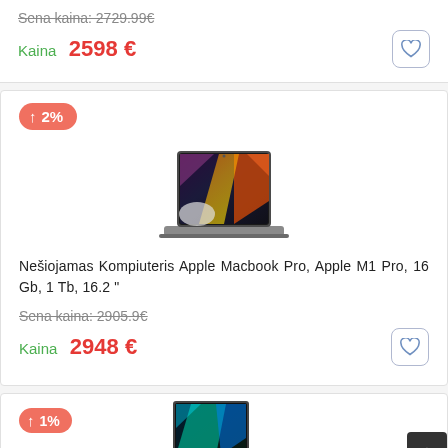Sena kaina: 2729.99€
Kaina  2598 €
[Figure (illustration): Price increase badge showing ↑ 2%]
[Figure (photo): Apple MacBook Pro laptop product image]
Nešiojamas Kompiuteris Apple Macbook Pro, Apple M1 Pro, 16 Gb, 1 Tb, 16.2 "
Sena kaina: 2905.9€
Kaina  2948 €
[Figure (illustration): Price increase badge showing ↑ 1%]
[Figure (photo): Apple MacBook Pro laptop product image (partial)]